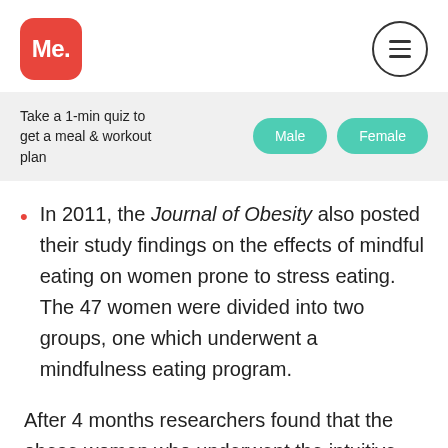Me.
Take a 1-min quiz to get a meal & workout plan
In 2011, the Journal of Obesity also posted their study findings on the effects of mindful eating on women prone to stress eating. The 47 women were divided into two groups, one which underwent a mindfulness eating program.
After 4 months researchers found that the obese women who underwent the intuitive